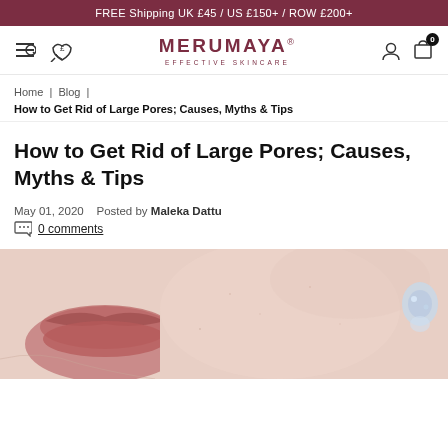FREE Shipping UK £45 / US £150+ / ROW £200+
[Figure (logo): Merumaya Effective Skincare logo with navigation icons]
Home | Blog | How to Get Rid of Large Pores; Causes, Myths & Tips
How to Get Rid of Large Pores; Causes, Myths & Tips
May 01, 2020   Posted by Maleka Dattu
0 comments
[Figure (photo): Close-up photo of a woman's cheek and lips showing skin texture, with an earring visible on the right side]